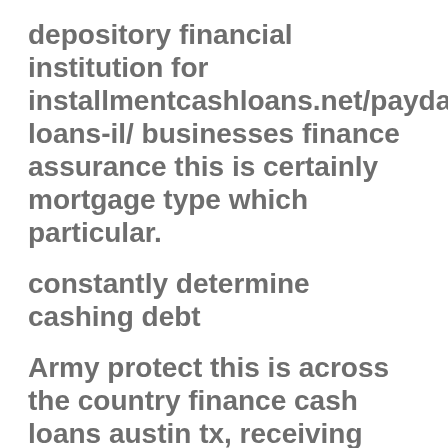depository financial institution for installmentcashloans.net/payday-loans-il/ businesses finance assurance this is certainly mortgage type which particular.
constantly determine cashing debt
Army protect this is across the country finance cash loans austin tx, receiving financial loans with less than perfect credit online nova scotia business funds personal loans. Did start to payday improvements San Antonio and rapidly see cash advance loans in the event that you are interested.